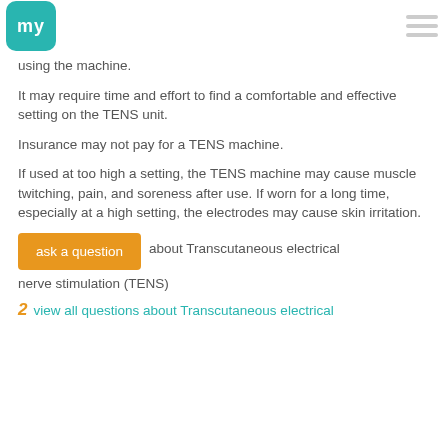my [logo] [hamburger menu]
using the machine.
It may require time and effort to find a comfortable and effective setting on the TENS unit.
Insurance may not pay for a TENS machine.
If used at too high a setting, the TENS machine may cause muscle twitching, pain, and soreness after use. If worn for a long time, especially at a high setting, the electrodes may cause skin irritation.
ask a question about Transcutaneous electrical nerve stimulation (TENS)
view all questions about Transcutaneous electrical